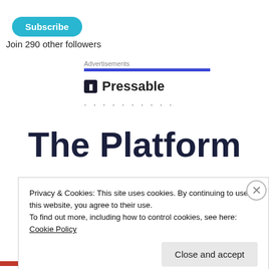Subscribe
Join 290 other followers
Advertisements
[Figure (logo): Pressable logo with dark square icon containing letter P and text 'Pressable' in bold]
..........
The Platform
Privacy & Cookies: This site uses cookies. By continuing to use this website, you agree to their use.
To find out more, including how to control cookies, see here: Cookie Policy
Close and accept